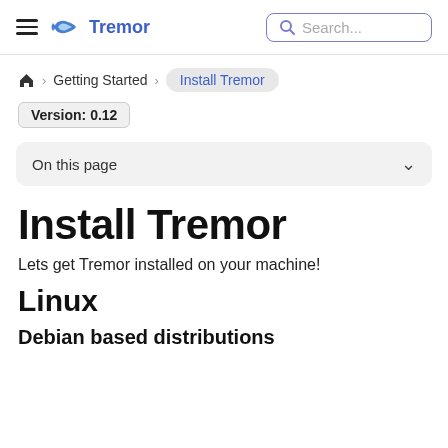Tremor — Search...
🏠 > Getting Started > Install Tremor
Version: 0.12
On this page
Install Tremor
Lets get Tremor installed on your machine!
Linux
Debian based distributions